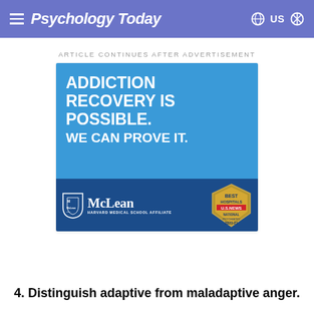Psychology Today
ARTICLE CONTINUES AFTER ADVERTISEMENT
[Figure (other): McLean Hospital advertisement. Blue background with white bold text reading 'ADDICTION RECOVERY IS POSSIBLE. WE CAN PROVE IT.' Dark blue lower section with McLean Hospital logo (Harvard Medical School Affiliate) and US News Best Hospitals National 2020-21 badge.]
4. Distinguish adaptive from maladaptive anger.